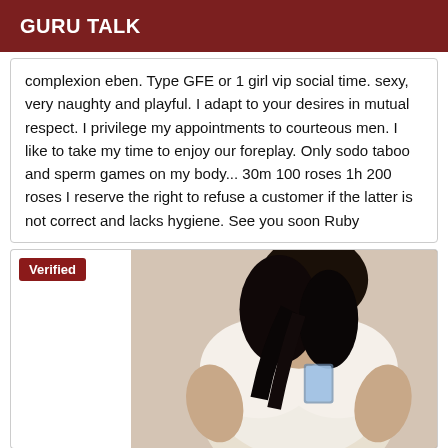GURU TALK
complexion eben. Type GFE or 1 girl vip social time. sexy, very naughty and playful. I adapt to your desires in mutual respect. I privilege my appointments to courteous men. I like to take my time to enjoy our foreplay. Only sodo taboo and sperm games on my body... 30m 100 roses 1h 200 roses I reserve the right to refuse a customer if the latter is not correct and lacks hygiene. See you soon Ruby
Verified
[Figure (photo): A person photographed from behind wearing a white lace top, with dark hair.]